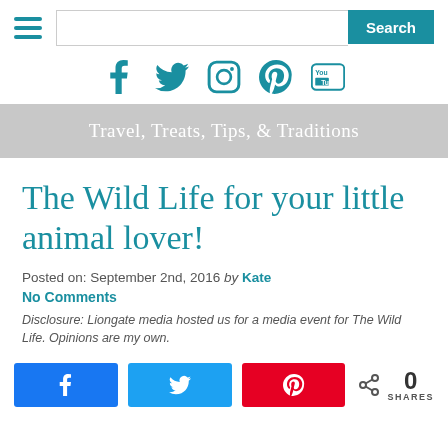[Figure (screenshot): Website header with hamburger menu, search bar with Search button, social media icons (Facebook, Twitter, Instagram, Pinterest, YouTube) in teal]
Travel, Treats, Tips, & Traditions
The Wild Life for your little animal lover!
Posted on: September 2nd, 2016 by Kate
No Comments
Disclosure: Liongate media hosted us for a media event for The Wild Life. Opinions are my own.
[Figure (screenshot): Share buttons: Facebook (blue), Twitter (light blue), Pinterest (red), and share count showing 0 SHARES]